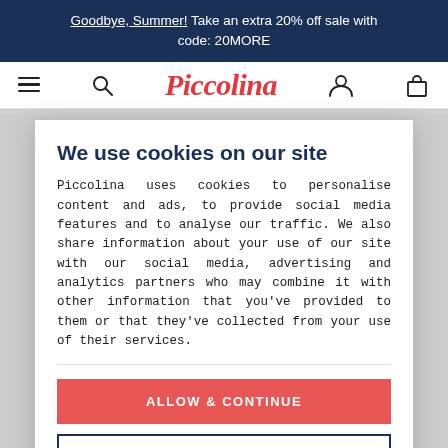Goodbye, Summer! Take an extra 20% off sale with code: 20MORE
[Figure (logo): Piccolina script logo in red with hamburger menu, search, user, and bag icons]
We use cookies on our site
Piccolina uses cookies to personalise content and ads, to provide social media features and to analyse our traffic. We also share information about your use of our site with our social media, advertising and analytics partners who may combine it with other information that you've provided to them or that they've collected from your use of their services.
ALLOW & CONTINUE
DECLINE